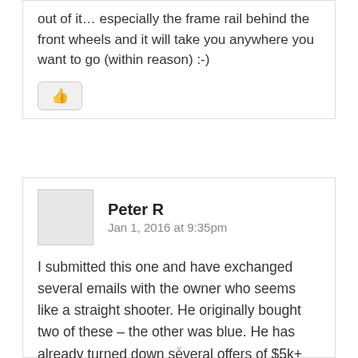out of it… especially the frame rail behind the front wheels and it will take you anywhere you want to go (within reason) :-)
Peter R
Jan 1, 2016 at 9:35pm
I submitted this one and have exchanged several emails with the owner who seems like a straight shooter. He originally bought two of these – the other was blue. He has already turned down several offers of $5k+ which is why the price is B.O. over $ 6k. I thought it a little high but after looking around this seems fair given the condition